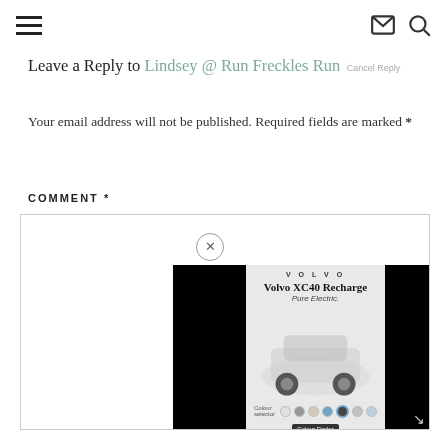[hamburger menu] [mail icon] [search icon]
Leave a Reply to Lindsey @ Run Freckles Run Cancel Reply
Your email address will not be published. Required fields are marked *
COMMENT *
[Figure (screenshot): Comment text area input box with an advertisement overlay showing Volvo XC40 Recharge Pure Electric car ad with color selector swatches and a close button (x).]